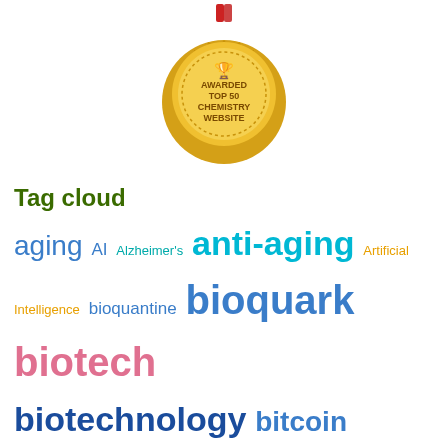[Figure (illustration): Gold medal/badge labeled 'Awarded Top 50 Chemistry Website' with trophy icon and decorative border]
Tag cloud
[Figure (infographic): Tag cloud with words of varying sizes and colors related to aging, longevity, biotech, AI, health topics. Words include: aging, AI, Alzheimer's, anti-aging, Artificial Intelligence, bioquantine, bioquark, biotech, biotechnology, bitcoin, blockchain, brain death, cancer, cryptocurrency, culture, Death, existential risks, extinction, future, futurism, Google, health, healthspan, humanity, ideaxme, immortality, Interstellar Travel, ira pastor, Life extension, lifespan, longevity, NASA, Neuroscience, politics, reanima, regenerate, regeneration, research, risks, singularity, space, sustainability, technology, transhumanism]